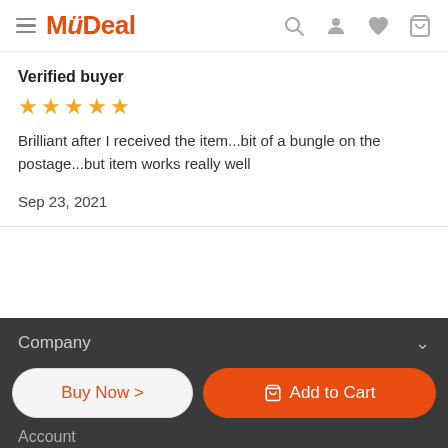MyDeal
Verified buyer
★★★★★
Brilliant after I received the item...bit of a bungle on the postage...but item works really well
Sep 23, 2021
Company  Account  Buy Now  Add to Cart